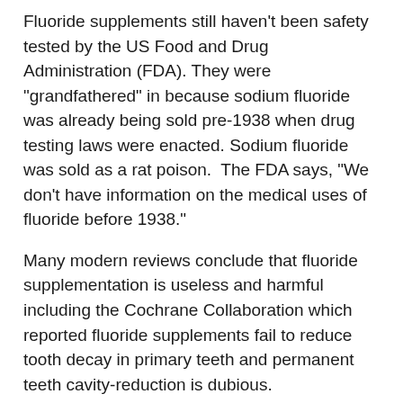Fluoride supplements still haven't been safety tested by the US Food and Drug Administration (FDA). They were "grandfathered" in because sodium fluoride was already being sold pre-1938 when drug testing laws were enacted. Sodium fluoride was sold as a rat poison. The FDA says, “We don't have information on the medical uses of fluoride before 1938."
Many modern reviews conclude that fluoride supplementation is useless and harmful including the Cochrane Collaboration which reported fluoride supplements fail to reduce tooth decay in primary teeth and permanent teeth cavity-reduction is dubious. Studies now show tooth decay rates are virtually the same in fluoridated and non-fluoridated communities, alike. In fact, some non-fluoridated communities enjoy lower tooth decay rates.
Dental fluorosis has gotten so bad that some dental experts say that it costs more to repair teeth damaged by fluoride than would have been saved had water fluoridation actually